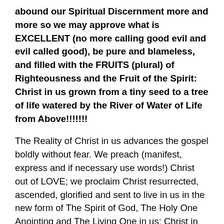abound our Spiritual Discernment more and more so we may approve what is EXCELLENT (no more calling good evil and evil called good), be pure and blameless, and filled with the FRUITS (plural) of Righteousness and the Fruit of the Spirit: Christ in us grown from a tiny seed to a tree of life watered by the River of Water of Life from Above!!!!!!!
The Reality of Christ in us advances the gospel boldly without fear. We preach (manifest, express and if necessary use words!) Christ out of LOVE; we proclaim Christ resurrected, ascended, glorified and sent to live in us in the new form of The Spirit of God, The Holy One Anointing and The Living One in us: Christ in us! With the help of the Spirit of Jesus The Christ, The Living Holy Spirit with and in us, we rejoice and rejoice! We receive